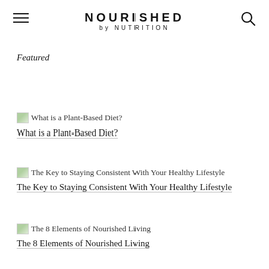NOURISHED by NUTRITION
Featured
[Figure (illustration): Small thumbnail image for article about Plant-Based Diet]
What is a Plant-Based Diet?
[Figure (illustration): Small thumbnail image for article about Staying Consistent With Your Healthy Lifestyle]
The Key to Staying Consistent With Your Healthy Lifestyle
[Figure (illustration): Small thumbnail image for article about 8 Elements of Nourished Living]
The 8 Elements of Nourished Living